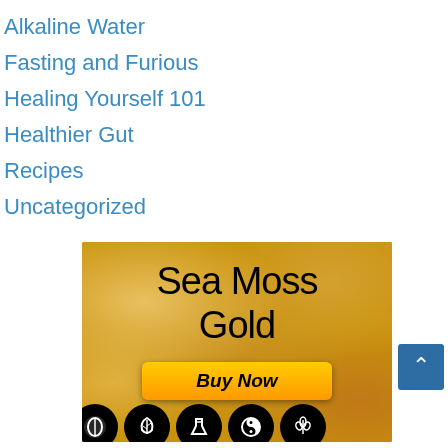Alkaline Water
Fasting and Furious
Healing Yourself 101
Healthier Gut
Recipes
Uncategorized
[Figure (photo): Sea Moss Gold advertisement banner showing golden sea moss background with large text 'Sea Moss Gold', an orange 'Buy Now' button, and a row of circular icons at the bottom with various symbols]